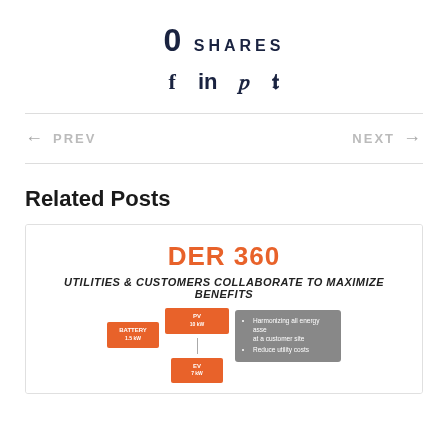0 SHARES
[Figure (infographic): Social sharing icons: Facebook (f), LinkedIn (in), Pinterest (p), Twitter (bird)]
← PREV
NEXT →
Related Posts
[Figure (infographic): DER 360 infographic card: 'UTILITIES & CUSTOMERS COLLABORATE TO MAXIMIZE BENEFITS' with orange boxes and gray information panel mentioning 'Harmonizing all energy assets at a customer site' and 'Reduce utility costs']